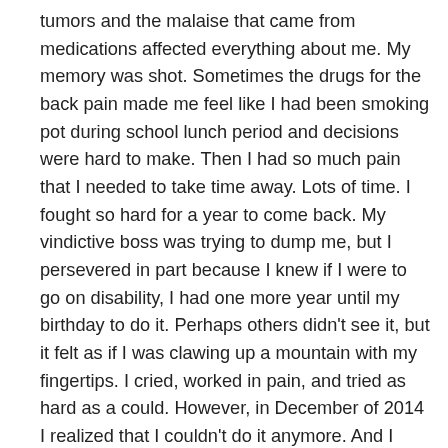tumors and the malaise that came from medications affected everything about me. My memory was shot. Sometimes the drugs for the back pain made me feel like I had been smoking pot during school lunch period and decisions were hard to make. Then I had so much pain that I needed to take time away. Lots of time. I fought so hard for a year to come back. My vindictive boss was trying to dump me, but I persevered in part because I knew if I were to go on disability, I had one more year until my birthday to do it. Perhaps others didn't see it, but it felt as if I was clawing up a mountain with my fingertips. I cried, worked in pain, and tried as hard as a could. However, in December of 2014 I realized that I couldn't do it anymore. And I accessed the generous disability insurance from my employer (and working on the government end, too).